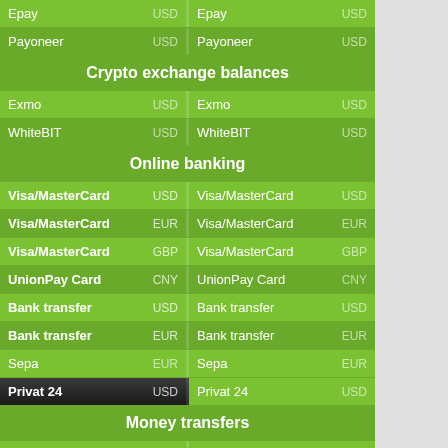| Name | Currency | Name | Currency |
| --- | --- | --- | --- |
| Epay | USD | Epay | USD |
| Payoneer | USD | Payoneer | USD |
| Crypto exchange balances |  |  |  |
| Exmo | USD | Exmo | USD |
| WhiteBIT | USD | WhiteBIT | USD |
| Online banking |  |  |  |
| Visa/MasterCard | USD | Visa/MasterCard | USD |
| Visa/MasterCard | EUR | Visa/MasterCard | EUR |
| Visa/MasterCard | GBP | Visa/MasterCard | GBP |
| UnionPay Card | CNY | UnionPay Card | CNY |
| Bank transfer | USD | Bank transfer | USD |
| Bank transfer | EUR | Bank transfer | EUR |
| Sepa | EUR | Sepa | EUR |
| Privat 24 | USD | Privat 24 | USD |
| Money transfers |  |  |  |
| WU | USD | WU | USD |
| MoneyGram | USD | MoneyGram | USD |
| Cash |  |  |  |
| Cash | USD | Cash | USD |